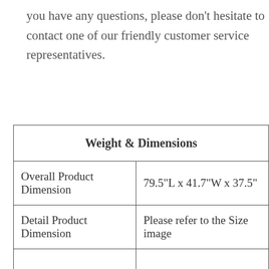you have any questions, please don't hesitate to contact one of our friendly customer service representatives.
| Weight & Dimensions |  |
| --- | --- |
| Overall Product Dimension | 79.5"L x 41.7"W x 37.5" |
| Detail Product Dimension | Please refer to the Size image |
|  |  |